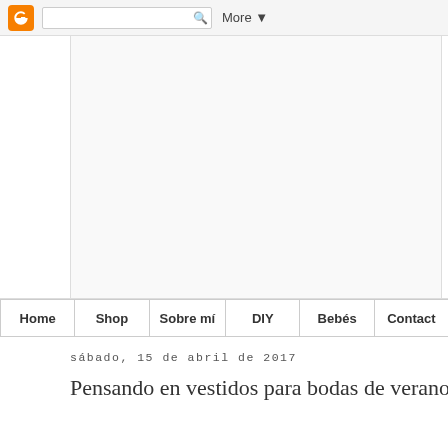Blogger navigation bar with search and More button
[Figure (other): Blogger website banner/header image area — large white/light grey rectangle]
Home | Shop | Sobre mí | DIY | Bebés | Contact
sábado, 15 de abril de 2017
Pensando en vestidos para bodas de verano